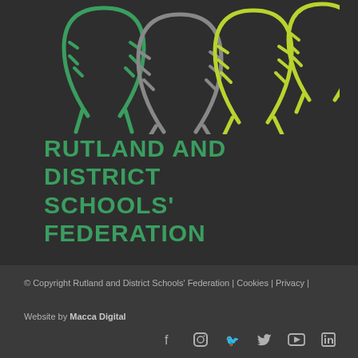[Figure (logo): Four horseshoe icons in outline style: green, gray, yellow-green, and yellow-green (smaller), arranged side by side on a dark background]
RUTLAND AND DISTRICT SCHOOLS' FEDERATION
© Copyright Rutland and District Schools' Federation | Cookies | Privacy | Website by Macca Digital
[Figure (other): Social media icons: Facebook, Instagram, Twitter, YouTube, LinkedIn]